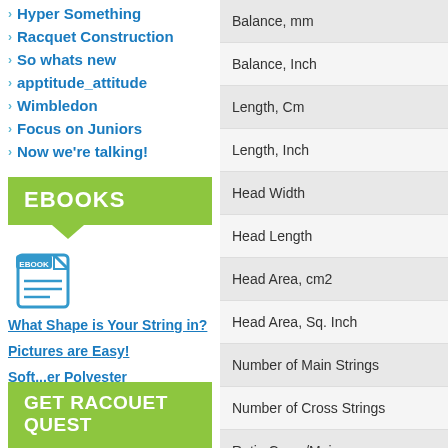Hyper Something
Racquet Construction
So whats new
apptitude_attitude
Wimbledon
Focus on Juniors
Now we're talking!
EBOOKS
[Figure (illustration): Ebook icon showing a document with lines and EBOOK label in blue]
What Shape is Your String in?
Pictures are Easy!
Soft...er Polyester
Hitting Hard?
GET RACOUET QUEST
| Balance, mm |
| Balance, Inch |
| Length, Cm |
| Length, Inch |
| Head Width |
| Head Length |
| Head Area, cm2 |
| Head Area, Sq. Inch |
| Number of Main Strings |
| Number of Cross Strings |
| Ratio Cross/Mains |
| Main String Grid |
| Cross String Grid |
| Density (% of head filled wi... |
| Average Cross String Space... |